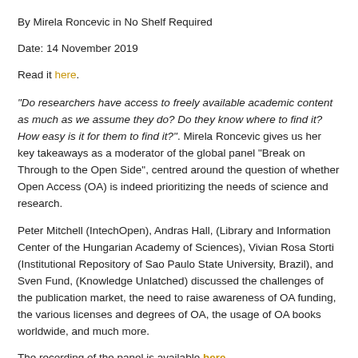By Mirela Roncevic in No Shelf Required
Date: 14 November 2019
Read it here.
"Do researchers have access to freely available academic content as much as we assume they do? Do they know where to find it? How easy is it for them to find it?". Mirela Roncevic gives us her key takeaways as a moderator of the global panel “Break on Through to the Open Side”, centred around the question of whether Open Access (OA) is indeed prioritizing the needs of science and research.
Peter Mitchell (IntechOpen), Andras Hall, (Library and Information Center of the Hungarian Academy of Sciences), Vivian Rosa Storti (Institutional Repository of Sao Paulo State University, Brazil), and Sven Fund, (Knowledge Unlatched) discussed the challenges of the publication market, the need to raise awareness of OA funding, the various licenses and degrees of OA, the usage of OA books worldwide, and much more.
The recording of the panel is available here.